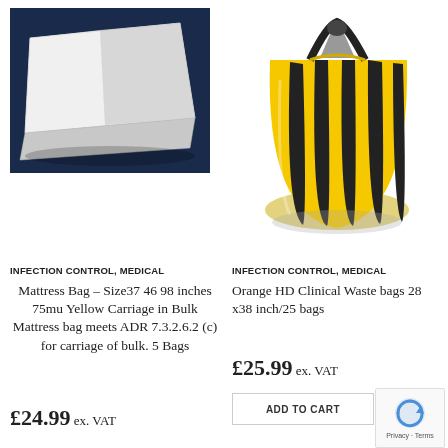[Figure (photo): A white mattress bag lying flat on a dark blue surface]
[Figure (photo): A yellow and black striped clinical waste bag, gathered at the top]
INFECTION CONTROL, MEDICAL
Mattress Bag – Size37 46 98 inches 75mu Yellow Carriage in Bulk Mattress bag meets ADR 7.3.2.6.2 (c) for carriage of bulk. 5 Bags
£24.99 ex. VAT
INFECTION CONTROL, MEDICAL
Orange HD Clinical Waste bags 28 x38 inch/25 bags
£25.99 ex. VAT
ADD TO CART